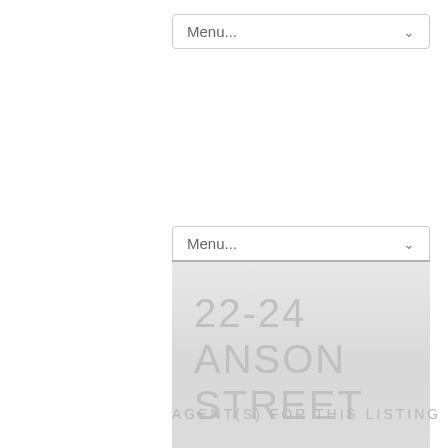[Figure (screenshot): A dropdown menu UI element showing 'Menu...' text with a chevron arrow, closed state, at the top of the page]
[Figure (screenshot): A second dropdown menu UI element showing 'Menu...' with chevron, in open state revealing a listing panel with address '22-24 ANSON STREET' and status 'SOLD' in light grey text on a grey gradient background]
AGENT(S) FOR THIS LISTING